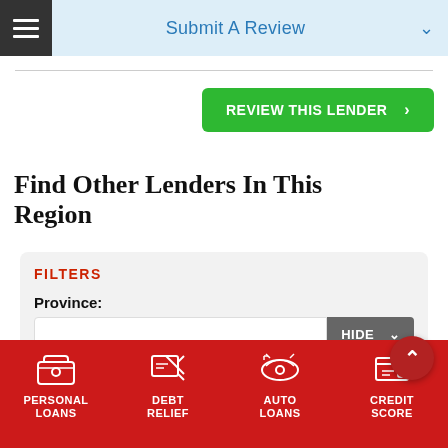Submit A Review
REVIEW THIS LENDER ›
Find Other Lenders In This Region
FILTERS
Province:
HIDE ∨
PERSONAL LOANS | DEBT RELIEF | AUTO LOANS | CREDIT SCORE